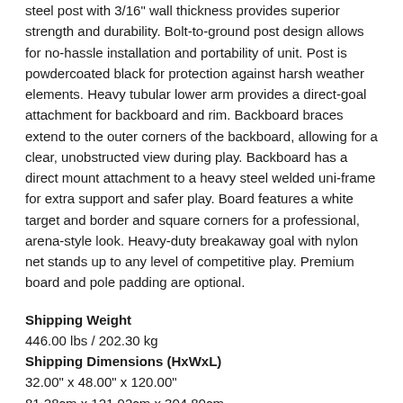steel post with 3/16" wall thickness provides superior strength and durability. Bolt-to-ground post design allows for no-hassle installation and portability of unit. Post is powdercoated black for protection against harsh weather elements. Heavy tubular lower arm provides a direct-goal attachment for backboard and rim. Backboard braces extend to the outer corners of the backboard, allowing for a clear, unobstructed view during play. Backboard has a direct mount attachment to a heavy steel welded uni-frame for extra support and safer play. Board features a white target and border and square corners for a professional, arena-style look. Heavy-duty breakaway goal with nylon net stands up to any level of competitive play. Premium board and pole padding are optional.
Shipping Weight
446.00 lbs / 202.30 kg
Shipping Dimensions (HxWxL)
32.00" x 48.00" x 120.00"
81.28cm x 121.92cm x 304.80cm
Sports 365 is an Authorized Dealer for all GARED Products